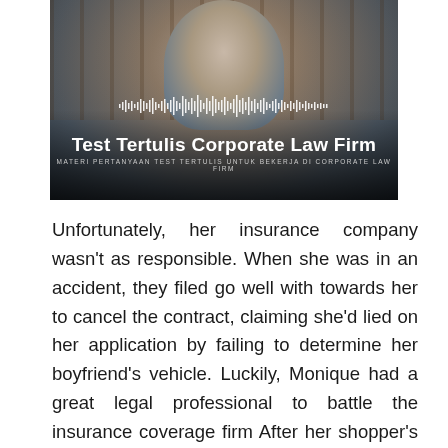[Figure (photo): A young Asian man smiling, standing in front of a wooden-framed window or glass door. The image has an audio waveform graphic overlay, and large white text overlay reading 'Test Tertulis Corporate Law Firm' with subtitle 'MATERI PERTANYAAN TEST TERTULIS UNTUK BEKERJA DI CORPORATE LAW FIRM'.]
Unfortunately, her insurance company wasn't as responsible. When she was in an accident, they filed go well with towards her to cancel the contract, claiming she'd lied on her application by failing to determine her boyfriend's vehicle. Luckily, Monique had a great legal professional to battle the insurance coverage firm After her shopper's deposition, the insurance coverage